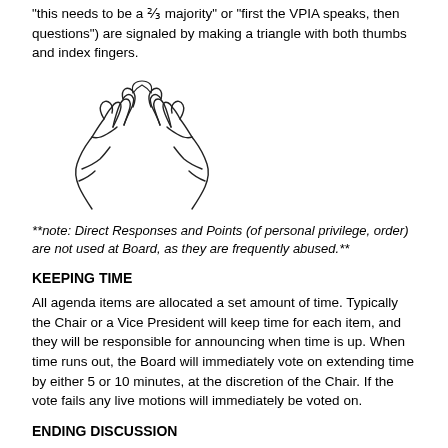“this needs to be a ⅔ majority” or “first the VPIA speaks, then questions”) are signaled by making a triangle with both thumbs and index fingers.
[Figure (illustration): Line drawing of two hands forming a triangle shape with thumbs and index fingers touching at the tips.]
**note: Direct Responses and Points (of personal privilege, order) are not used at Board, as they are frequently abused.**
KEEPING TIME
All agenda items are allocated a set amount of time. Typically the Chair or a Vice President will keep time for each item, and they will be responsible for announcing when time is up. When time runs out, the Board will immediately vote on extending time by either 5 or 10 minutes, at the discretion of the Chair. If the vote fails any live motions will immediately be voted on.
ENDING DISCUSSION
There are two ways to end discussion and call a vote with time remaining:
Call the Question: When one believes enough debate has occurred,